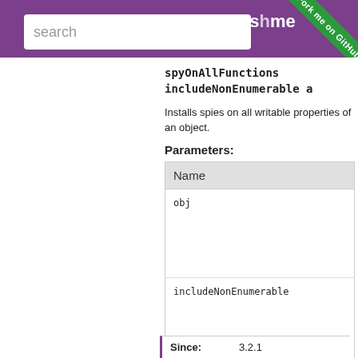search | as_me
spyOnAllFunctions includeNonEnumerable a
Installs spies on all writable properties of an object.
Parameters:
| Name |
| --- |
| obj |
| includeNonEnumerable |
Since: 3.2.1